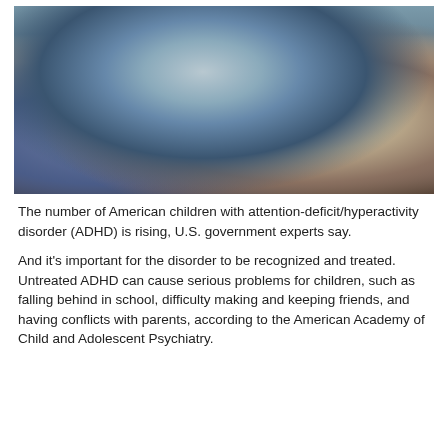[Figure (photo): A young boy sitting on the floor leaning against a wooden surface, wearing a gray t-shirt and jeans, with a stack of papers/books beside him, looking sullen or frustrated.]
The number of American children with attention-deficit/hyperactivity disorder (ADHD) is rising, U.S. government experts say.
And it's important for the disorder to be recognized and treated. Untreated ADHD can cause serious problems for children, such as falling behind in school, difficulty making and keeping friends, and having conflicts with parents, according to the American Academy of Child and Adolescent Psychiatry.